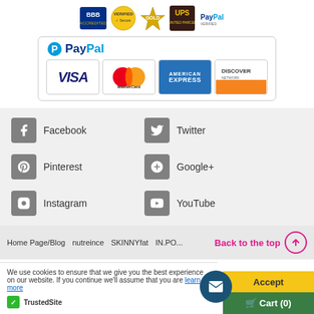[Figure (logo): Top badges row: BBB, Verified, gold seal, UPS, PayPal verified logos]
[Figure (logo): PayPal payment section with VISA, MasterCard, American Express, Discover card logos]
[Figure (infographic): Social media links section: Facebook, Twitter, Pinterest, Google+, Instagram, YouTube icons with labels]
Home Page/Blog   nutreince   SKINNYfat   IN.PO...   Back to the top
We use cookies to ensure that we give you the best experience on our website. If you continue we'll assume that you are   learn more
[Figure (logo): TrustedSite badge]
Accept
Cart (0)